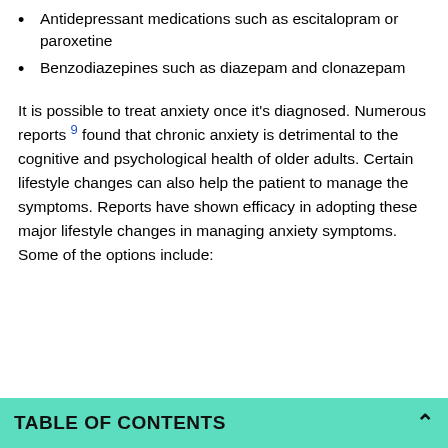Antidepressant medications such as escitalopram or paroxetine
Benzodiazepines such as diazepam and clonazepam
It is possible to treat anxiety once it's diagnosed. Numerous reports 9 found that chronic anxiety is detrimental to the cognitive and psychological health of older adults. Certain lifestyle changes can also help the patient to manage the symptoms. Reports have shown efficacy in adopting these major lifestyle changes in managing anxiety symptoms. Some of the options include:
TABLE OF CONTENTS